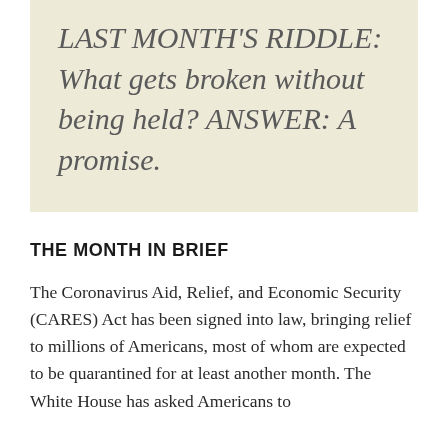LAST MONTH'S RIDDLE: What gets broken without being held? ANSWER: A promise.
THE MONTH IN BRIEF
The Coronavirus Aid, Relief, and Economic Security (CARES) Act has been signed into law, bringing relief to millions of Americans, most of whom are expected to be quarantined for at least another month. The White House has asked Americans to